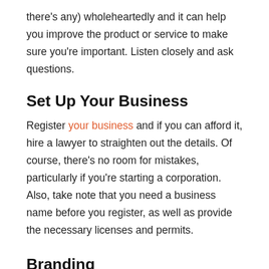there's any) wholeheartedly and it can help you improve the product or service to make sure you're important. Listen closely and ask questions.
Set Up Your Business
Register your business and if you can afford it, hire a lawyer to straighten out the details. Of course, there's no room for mistakes, particularly if you're starting a corporation. Also, take note that you need a business name before you register, as well as provide the necessary licenses and permits.
Branding